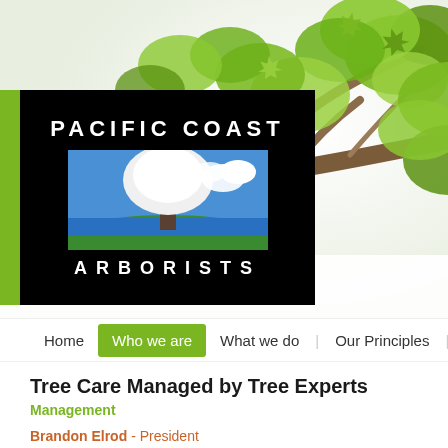[Figure (photo): Hero photograph of green maple tree branches with leaves against a white background, with Pacific Coast Arborists logo overlaid on a black box in the upper-left area]
Home | Who we are | What we do | Our Principles | Ou
Tree Care Managed by Tree Experts
Management
Brandon Elrod - President
Brandon Elrod is the President of Pacific Coast Arborists & Consultants based in Orang